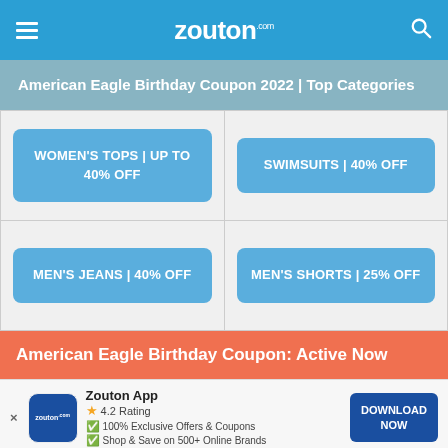zouton.com
American Eagle Birthday Coupon 2022 | Top Categories
WOMEN'S TOPS | UP TO 40% OFF
SWIMSUITS | 40% OFF
MEN'S JEANS | 40% OFF
MEN'S SHORTS | 25% OFF
American Eagle Birthday Coupon: Active Now
Zouton App
4.2 Rating
100% Exclusive Offers & Coupons
Shop & Save on 500+ Online Brands
DOWNLOAD NOW